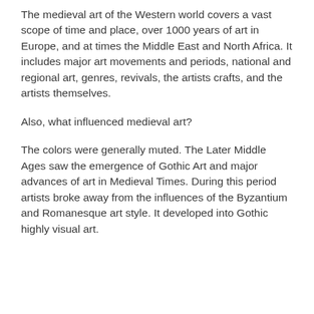The medieval art of the Western world covers a vast scope of time and place, over 1000 years of art in Europe, and at times the Middle East and North Africa. It includes major art movements and periods, national and regional art, genres, revivals, the artists crafts, and the artists themselves.
Also, what influenced medieval art?
The colors were generally muted. The Later Middle Ages saw the emergence of Gothic Art and major advances of art in Medieval Times. During this period artists broke away from the influences of the Byzantium and Romanesque art style. It developed into Gothic highly visual art.